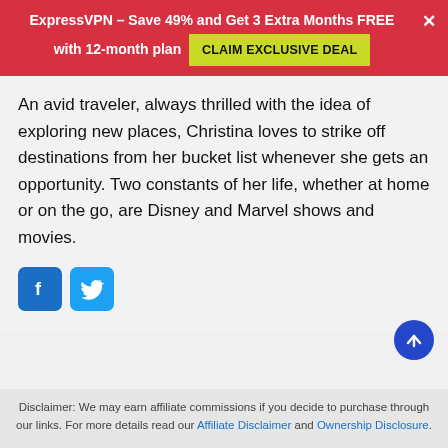ExpressVPN – Save 49% and Get 3 Extra Months FREE with 12-month plan  CLAIM EXCLUSIVE DEAL  ×
An avid traveler, always thrilled with the idea of exploring new places, Christina loves to strike off destinations from her bucket list whenever she gets an opportunity. Two constants of her life, whether at home or on the go, are Disney and Marvel shows and movies.
[Figure (other): Facebook and Twitter social share icon buttons]
[Figure (other): Scroll-to-top circular button with upward arrow]
Disclaimer: We may earn affiliate commissions if you decide to purchase through our links. For more details read our Affiliate Disclaimer and Ownership Disclosure.